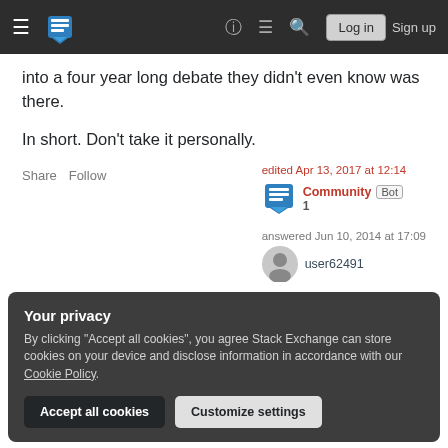Stack Exchange navigation bar with logo, icons, Log in and Sign up buttons
into a four year long debate they didn't even know was there.
In short. Don't take it personally.
Share  Follow  edited Apr 13, 2017 at 12:14  Community Bot 1  answered Jun 10, 2014 at 17:09  user62491
Your privacy
By clicking "Accept all cookies", you agree Stack Exchange can store cookies on your device and disclose information in accordance with our Cookie Policy.
Accept all cookies  Customize settings